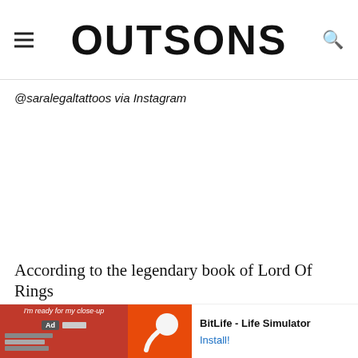OUTSONS
@saralegaltattoos via Instagram
[Figure (photo): Large white/blank image area (tattoo photo placeholder)]
According to the legendary book of Lord Of Rings by JJ... gs in
[Figure (screenshot): Ad banner: BitLife - Life Simulator Install! with red/orange background sperm logo graphic]